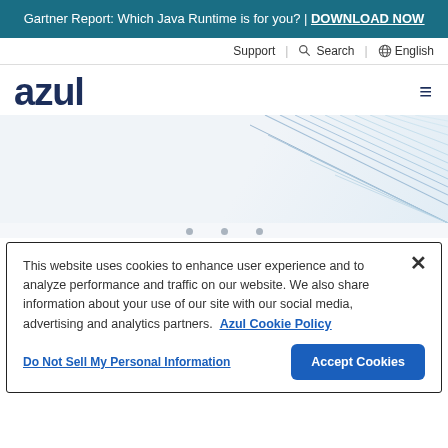Gartner Report: Which Java Runtime is for you? | DOWNLOAD NOW
Support | Search | English
[Figure (logo): Azul company logo in dark navy text]
[Figure (illustration): Blue diagonal line graphic design element in hero area]
This website uses cookies to enhance user experience and to analyze performance and traffic on our website. We also share information about your use of our site with our social media, advertising and analytics partners. Azul Cookie Policy
Do Not Sell My Personal Information | Accept Cookies